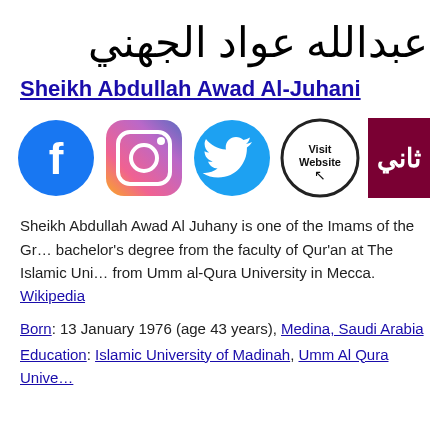عبدالله عواد الجهني
Sheikh Abdullah Awad Al-Juhani
[Figure (infographic): Row of social media icons: Facebook (blue circle with f), Instagram (gradient square with camera), Twitter (blue bird), Visit Website (circle with text and cursor), Arabic channel logo (dark red with Arabic text)]
Sheikh Abdullah Awad Al Juhany is one of the Imams of the Gr… bachelor's degree from the faculty of Qur'an at The Islamic Uni… from Umm al-Qura University in Mecca. Wikipedia
Born: 13 January 1976 (age 43 years), Medina, Saudi Arabia
Education: Islamic University of Madinah, Umm Al Qura Unive…